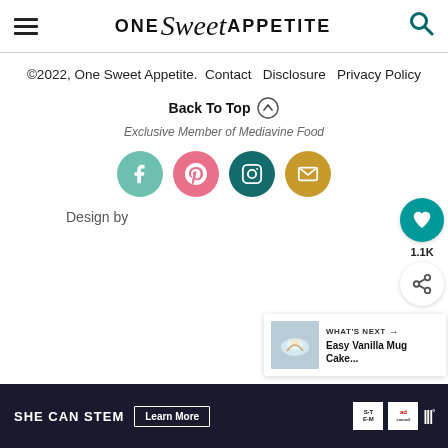[Figure (logo): One Sweet Appetite website header logo with hamburger menu and search icon]
©2022, One Sweet Appetite.  Contact  Disclosure  Privacy Policy
Back To Top ⌃
Exclusive Member of Mediavine Food
[Figure (infographic): Four social media circular icon buttons: Facebook (teal), Pinterest (pink), Instagram (dark teal), Email (gold)]
Design by
[Figure (infographic): Side action buttons: heart/like icon with 1.1K count, share icon]
[Figure (screenshot): What's Next card showing Easy Vanilla Mug Cake... with thumbnail image]
[Figure (infographic): Ad banner: SHE CAN STEM Learn More with STEM, Ad Council, and triple-W logos]